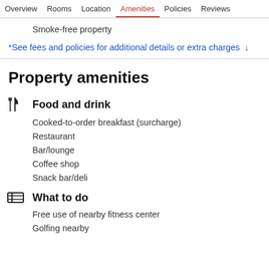Overview  Rooms  Location  Amenities  Policies  Reviews
Smoke-free property
*See fees and policies for additional details or extra charges ↓
Property amenities
Food and drink
Cooked-to-order breakfast (surcharge)
Restaurant
Bar/lounge
Coffee shop
Snack bar/deli
What to do
Free use of nearby fitness center
Golfing nearby